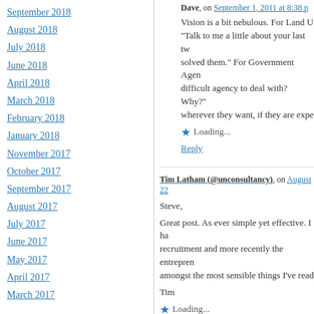September 2018
August 2018
July 2018
June 2018
April 2018
March 2018
February 2018
January 2018
November 2017
October 2017
September 2017
August 2017
July 2017
June 2017
May 2017
April 2017
March 2017
Dave, on September 1, 2011 at 8:38 p...
Vision is a bit nebulous. For Land U... "Talk to me a little about your last tw... solved them." For Government Agen... difficult agency to deal with? Why?"... wherever they want, if they are expe...
Loading...
Reply
Tim Latham (@unconsultancy), on August 22...
Steve,
Great post. As ever simple yet effective. I ha... recruitment and more recently the entrepren... amongst the most sensible things I've read...
Tim
Loading...
Reply
Ben Mappen, on August 22, 2011 at 10:05 am...